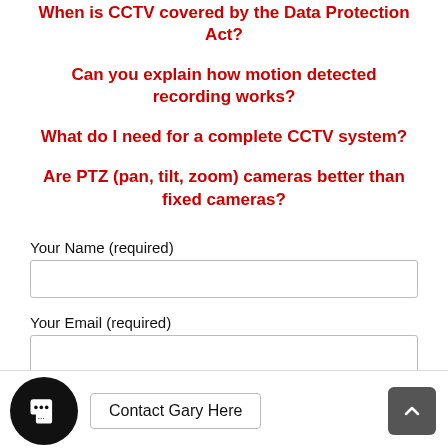When is CCTV covered by the Data Protection Act?
Can you explain how motion detected recording works?
What do I need for a complete CCTV system?
Are PTZ (pan, tilt, zoom) cameras better than fixed cameras?
Your Name (required)
Your Email (required)
Contact Gary Here